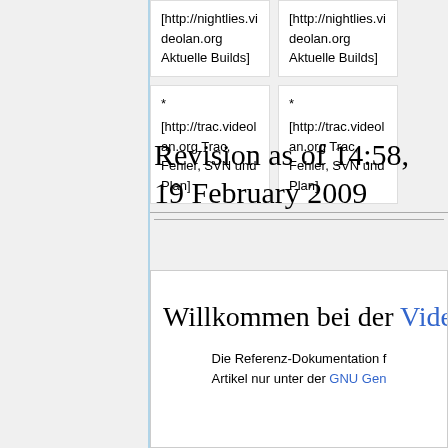* [http://nightlies.videolan.org Aktuelle Builds]
* [http://nightlies.videolan.org Aktuelle Builds]
* [http://trac.videolan.org Trac, Fehler, SVN und Plan]
* [http://trac.videolan.org Trac, Fehler, SVN und Plan]
Revision as of 14:58, 19 February 2009
Willkommen bei der Video
Die Referenz-Dokumentation für